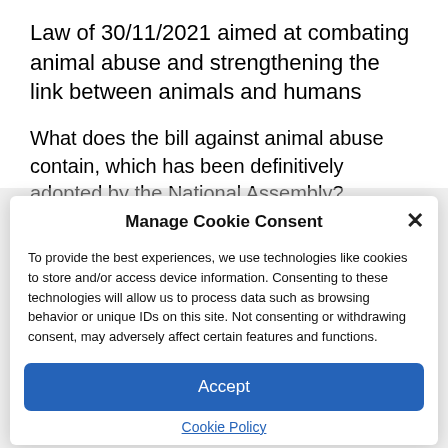Law of 30/11/2021 aimed at combating animal abuse and strengthening the link between animals and humans
What does the bill against animal abuse contain, which has been definitively adopted by the National Assembly?
[Figure (screenshot): Cookie consent modal dialog with title 'Manage Cookie Consent', a close (×) button, explanatory text about cookies and technologies, an 'Accept' blue button, and a 'Cookie Policy' link.]